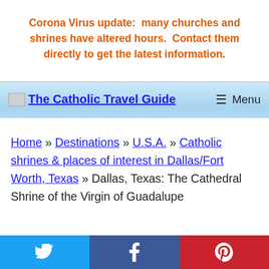Corona Virus update:  many churches and shrines have altered hours.  Contact them directly to get the latest information.
The Catholic Travel Guide | Menu
Home » Destinations » U.S.A. » Catholic shrines & places of interest in Dallas/Fort Worth, Texas » Dallas, Texas: The Cathedral Shrine of the Virgin of Guadalupe
Twitter | Facebook | Pinterest